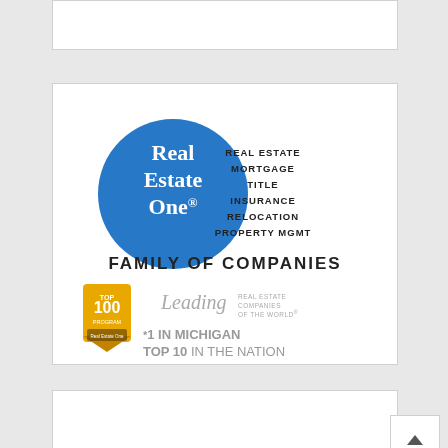[Figure (logo): Real Estate One Family of Companies logo with blue circle containing 'Real Estate One*' text, services list (Real Estate, Mortgage, Title, Insurance, Relocation, Property Mgmt), 'Family of Companies' tagline, and Leading Real Estate Companies of the World Top 100 badge with '#1 in Michigan Top 10 in the Nation' text.]